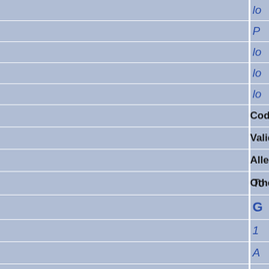|  | Label | Value |
| --- | --- | --- |
|  |  | lo... |
|  |  | P... |
|  |  | lo... |
|  |  | lo... |
|  |  | lo... |
|  | Coding Region Coverage |  |
|  | Validation Efficiency |  |
|  | Allele List at MGI |  |
|  | Other mutations in this stock | To... |
|  |  | G... |
|  |  | 1... |
|  |  | A... |
|  |  | A... |
|  |  | A... |
|  |  | B... |
|  |  | C... |